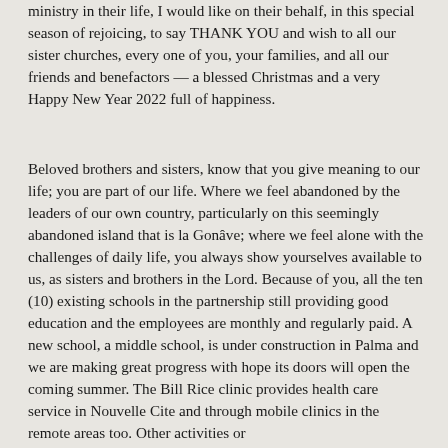ministry in their life, I would like on their behalf, in this special season of rejoicing, to say THANK YOU and wish to all our sister churches, every one of you, your families, and all our friends and benefactors — a blessed Christmas and a very Happy New Year 2022 full of happiness.
Beloved brothers and sisters, know that you give meaning to our life; you are part of our life. Where we feel abandoned by the leaders of our own country, particularly on this seemingly abandoned island that is la Gonâve; where we feel alone with the challenges of daily life, you always show yourselves available to us, as sisters and brothers in the Lord. Because of you, all the ten (10) existing schools in the partnership still providing good education and the employees are monthly and regularly paid. A new school, a middle school, is under construction in Palma and we are making great progress with hope its doors will open the coming summer. The Bill Rice clinic provides health care service in Nouvelle Cite and through mobile clinics in the remote areas too. Other activities or